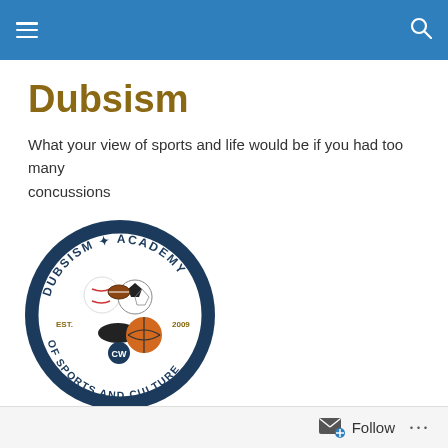Dubsism — navigation header with hamburger menu and search icon
Dubsism
What your view of sports and life would be if you had too many concussions
[Figure (logo): Dubsism Academy of Sports and Culture circular badge logo with sports balls (baseball, basketball, hockey puck, soccer ball, football) and text: DUBSISM ACADEMY, EST. 2009, OF SPORTS AND CULTURE, CW]
Misty Water-Colored Memories